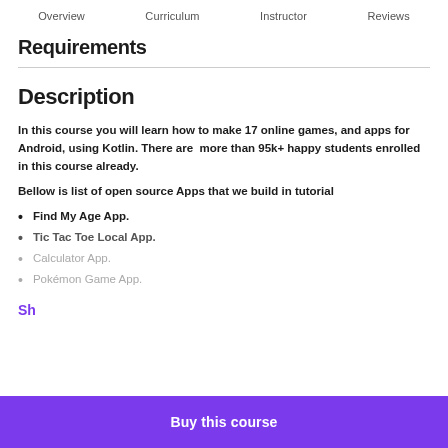Overview   Curriculum   Instructor   Reviews
Requirements
Description
In this course you will learn how to make 17 online games, and apps for Android, using Kotlin. There are  more than 95k+ happy students enrolled in this course already.
Bellow is list of open source Apps that we build in tutorial
Find My Age App.
Tic Tac Toe Local App.
Calculator App.
Pokémon Game App.
Sh...
Buy this course